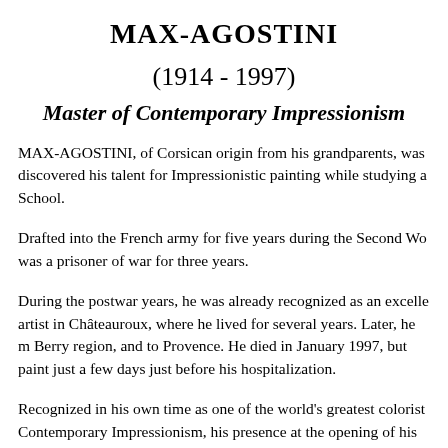MAX-AGOSTINI
(1914 - 1997)
Master of Contemporary Impressionism
MAX-AGOSTINI, of Corsican origin from his grandparents, was discovered his talent for Impressionistic painting while studying at School.
Drafted into the French army for five years during the Second World War, was a prisoner of war for three years.
During the postwar years, he was already recognized as an excellent artist in Châteauroux, where he lived for several years. Later, he moved to the Berry region, and to Provence. He died in January 1997, but painted just a few days just before his hospitalization.
Recognized in his own time as one of the world's greatest colorists of Contemporary Impressionism, his presence at the opening of his many shows gave his admirers a chance to know the artist, as well as his paintings of "Poppy Fields," bright "Spring Flowered Countrysides," "Water R..." "Still Lifes," and "Bouquets."